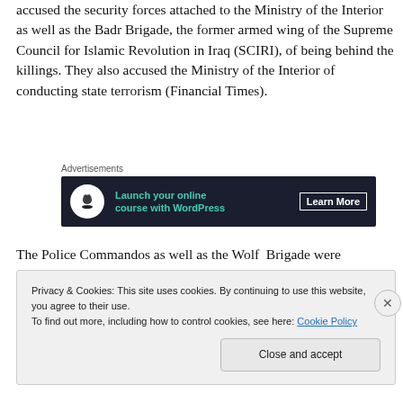accused the security forces attached to the Ministry of the Interior as well as the Badr Brigade, the former armed wing of the Supreme Council for Islamic Revolution in Iraq (SCIRI), of being behind the killings. They also accused the Ministry of the Interior of conducting state terrorism (Financial Times).
[Figure (other): Advertisement banner: Launch your online course with WordPress — Learn More]
The Police Commandos as well as the Wolf Brigade were overseen by the US counterinsurgency program in the
Privacy & Cookies: This site uses cookies. By continuing to use this website, you agree to their use.
To find out more, including how to control cookies, see here: Cookie Policy
Close and accept